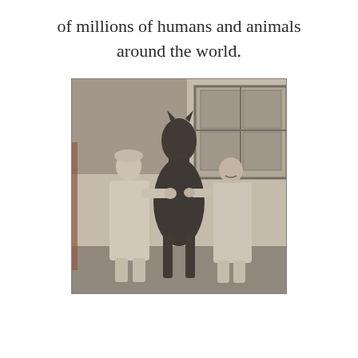of millions of humans and animals around the world.
[Figure (photo): A historical black-and-white photograph showing two people in white lab coats or medical gowns standing on either side of a horse, appearing to examine or treat the animal. They are outdoors near a brick building with a window visible in the background.]